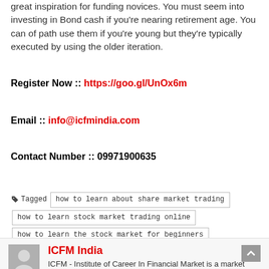great inspiration for funding novices. You must seem into investing in Bond cash if you're nearing retirement age. You can of path use them if you're young but they're typically executed by using the older iteration.
Register Now :: https://goo.gl/UnOx6m
Email :: info@icfmindia.com
Contact Number :: 09971900635
Tagged  how to learn about share market trading  how to learn stock market trading online  how to learn the stock market for beginners  investment courses for beginners  learn how to invest in the stock market  learn how to trade on the stock market
ICFM India
ICFM - Institute of Career In Financial Market is a market leader in the segment of Financial Market Education, It...